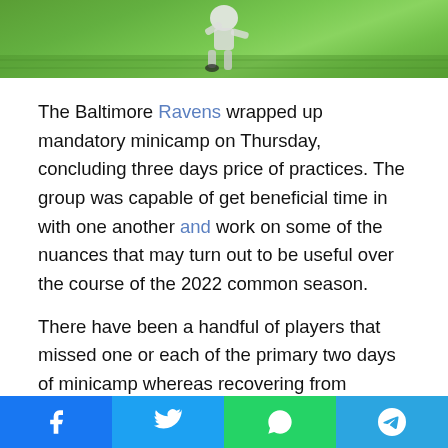[Figure (photo): Top portion of a sports action photo showing a player on green grass field]
The Baltimore Ravens wrapped up mandatory minicamp on Thursday, concluding three days price of practices. The group was capable of get beneficial time in with one another and work on some of the nuances that may turn out to be useful over the course of the 2022 common season.
There have been a handful of players that missed one or each of the primary two days of minicamp whereas recovering from accidents or different private causes. However, on Day 3 there have been two new Ravens not working towards in tight finish Nick Boyle and out of doors linebacker Jaylon Ferguson. Baltimore head coach John Harbaugh gave updates on each player, and in addition shared some information...
[Figure (infographic): Social media sharing bar with Facebook, Twitter, WhatsApp, and Telegram buttons]